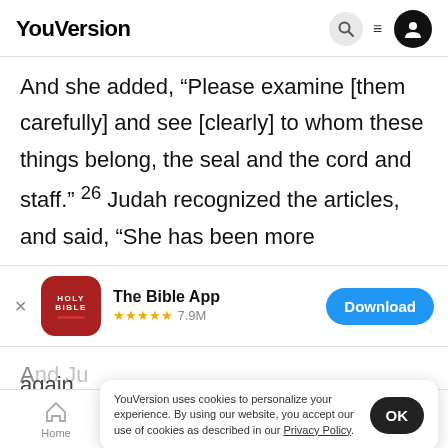YouVersion
And she added, “Please examine [them carefully] and see [clearly] to whom these things belong, the seal and the cord and staff.” 26 Judah recognized the articles, and said, “She has been more
[Figure (screenshot): App store banner for The Bible App with HOLY BIBLE icon, 5 star rating 7.9M reviews, and Download button]
And Ju
again.
YouVersion uses cookies to personalize your experience. By using our website, you accept our use of cookies as described in our Privacy Policy.
27 Now when the time came for her to give birth
Home   Bible   Plans   Videos